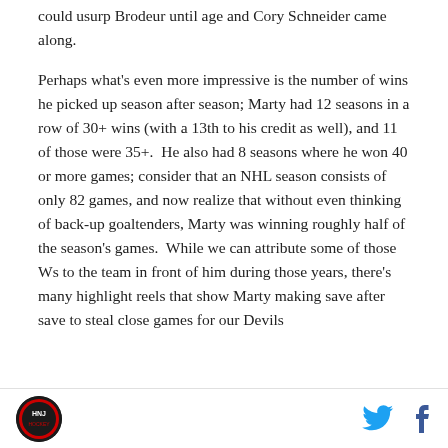could usurp Brodeur until age and Cory Schneider came along.
Perhaps what's even more impressive is the number of wins he picked up season after season; Marty had 12 seasons in a row of 30+ wins (with a 13th to his credit as well), and 11 of those were 35+. He also had 8 seasons where he won 40 or more games; consider that an NHL season consists of only 82 games, and now realize that without even thinking of back-up goaltenders, Marty was winning roughly half of the season's games. While we can attribute some of those Ws to the team in front of him during those years, there's many highlight reels that show Marty making save after save to steal close games for our Devils
[Figure (logo): Hockey NJ Devils fan logo - circular badge with NJ initials]
[Figure (other): Twitter bird icon and Facebook f icon for social sharing]